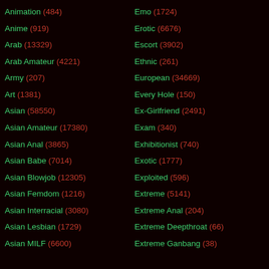Animation (484)
Anime (919)
Arab (13329)
Arab Amateur (4221)
Army (207)
Art (1381)
Asian (58550)
Asian Amateur (17380)
Asian Anal (3865)
Asian Babe (7014)
Asian Blowjob (12305)
Asian Femdom (1216)
Asian Interracial (3080)
Asian Lesbian (1729)
Asian MILF (6600)
Emo (1724)
Erotic (6676)
Escort (3902)
Ethnic (261)
European (34669)
Every Hole (150)
Ex-Girlfriend (2491)
Exam (340)
Exhibitionist (740)
Exotic (1777)
Exploited (596)
Extreme (5141)
Extreme Anal (204)
Extreme Deepthroat (66)
Extreme Ganbang (38)